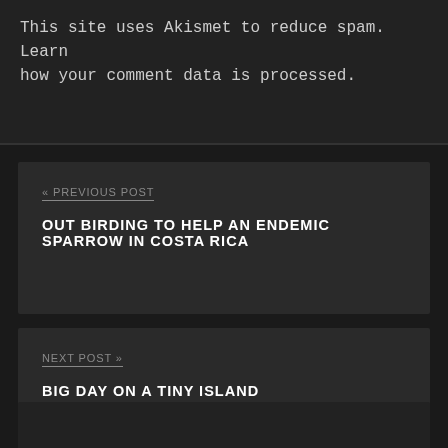This site uses Akismet to reduce spam. Learn how your comment data is processed.
« PREVIOUS POST
OUT BIRDING TO HELP AN ENDEMIC SPARROW IN COSTA RICA
NEXT POST »
BIG DAY ON A TINY ISLAND